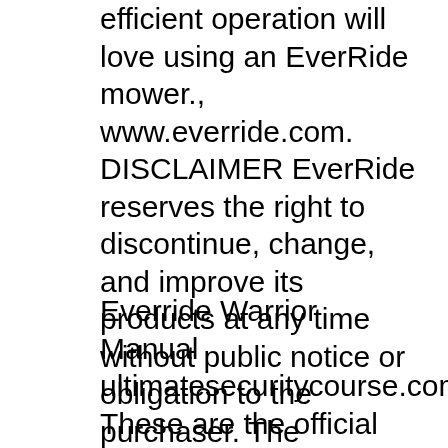efficient operation will love using an EverRide mower., www.everride.com. DISCLAIMER EverRide reserves the right to discontinue, change, and improve its products at any time without public notice or obligation to the purchaser. The descriptions and specifications contained in this manual were in effect at printing. Equipment described within this manual may be optional. Some illustrations may not be.
Everride Warrior Manual ultimatesecuritycourse.com. These are the official factory service manuals published by the manufacturer - the same manuals used by professional Kohler technicians. Inside you'll find